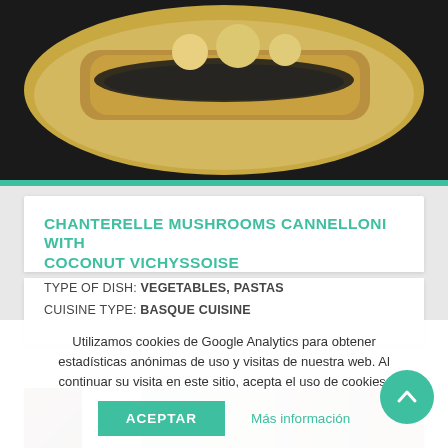[Figure (photo): Close-up photo of chanterelle mushroom cannelloni with coconut vichyssoise, showing pasta rolls filled with mushroom mixture on a white plate with golden sauce and dark herb garnish]
CHANTERELLE MUSHROOMS CANNELLONI WITH COCONUT VICHYSSOISE
TYPE OF DISH: VEGETABLES, PASTAS
CUISINE TYPE: BASQUE CUISINE
[Figure (photo): Thumbnail image of another dish, partially visible at bottom]
45 min
Utilizamos cookies de Google Analytics para obtener estadísticas anónimas de uso y visitas de nuestra web. Al continuar su visita en este sitio, acepta el uso de cookies.
ACEPTAR
Más información